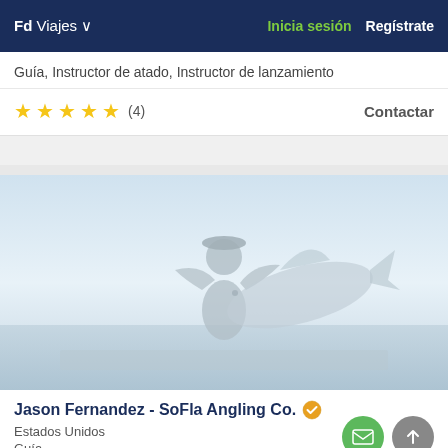Fd Viajes | Inicia sesión | Regístrate
Guía, Instructor de atado, Instructor de lanzamiento
★★★★★ (4)   Contactar
[Figure (photo): A fishing guide on a boat holding a large fish, silhouette against a light blue sky and water background]
Jason Fernandez - SoFla Angling Co. ✓ verified
Estados Unidos
Guía